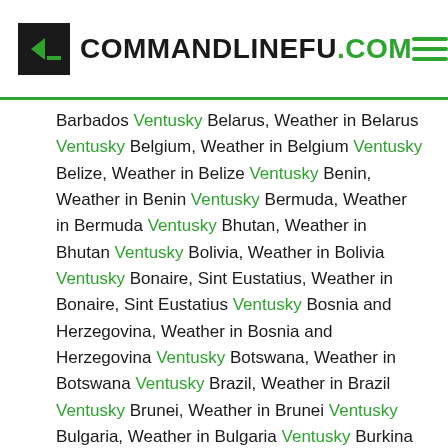COMMANDLINEFU.COM
Barbados Ventusky Belarus, Weather in Belarus Ventusky Belgium, Weather in Belgium Ventusky Belize, Weather in Belize Ventusky Benin, Weather in Benin Ventusky Bermuda, Weather in Bermuda Ventusky Bhutan, Weather in Bhutan Ventusky Bolivia, Weather in Bolivia Ventusky Bonaire, Sint Eustatius, Weather in Bonaire, Sint Eustatius Ventusky Bosnia and Herzegovina, Weather in Bosnia and Herzegovina Ventusky Botswana, Weather in Botswana Ventusky Brazil, Weather in Brazil Ventusky Brunei, Weather in Brunei Ventusky Bulgaria, Weather in Bulgaria Ventusky Burkina Faso, Weather in Burkina Faso Ventusky Burundi, Weather in Burundi Ventusky Cambodia, Weather in Cambodia Ventusky Cameroon, Weather in Cameroon Ventusky Canada, Weather in Canada Ventusky Cape Verde, Weather in Cape Verde Ventusky Cayman Islands, Weather in Cayman Islands